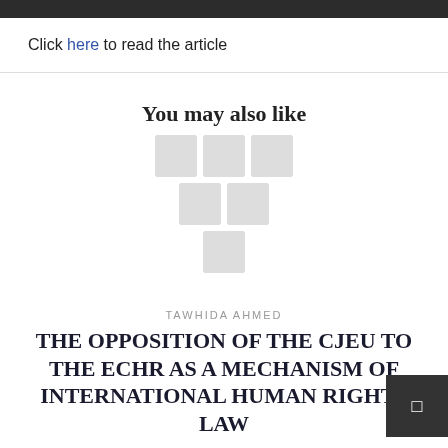Click here to read the article
You may also like
[Figure (illustration): Grid of grey placeholder squares (loading/thumbnail placeholders)]
TAWHIDA AHMED
THE OPPOSITION OF THE CJEU TO THE ECHR AS A MECHANISM OF INTERNATIONAL HUMAN RIGHTS LAW